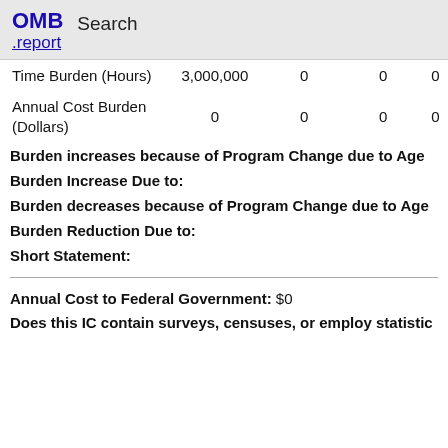OMB .report  Search
|  |  |  |  |  |
| --- | --- | --- | --- | --- |
| Time Burden (Hours) | 3,000,000 | 0 | 0 | 0 |
| Annual Cost Burden (Dollars) | 0 | 0 | 0 | 0 |
Burden increases because of Program Change due to Age
Burden Increase Due to:
Burden decreases because of Program Change due to Age
Burden Reduction Due to:
Short Statement:
Annual Cost to Federal Government: $0
Does this IC contain surveys, censuses, or employ statistic